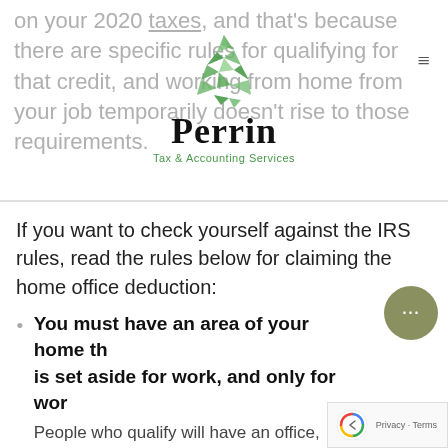on your 2020 taxes, and that's because there are specific rules for qualifying for that credit, and working from home from your job temporarily doesn't rise to those requirements.
[Figure (logo): Perrin Tax & Accounting Services logo with green geometric tree above the company name]
If you want to check yourself against the IRS rules, read the rules below for claiming the home office deduction:
You must have an area of your home that is set aside for work, and only for work. People who qualify will have an office, pantry, small closet, sunroom, garage or other space that is used exclusively as...